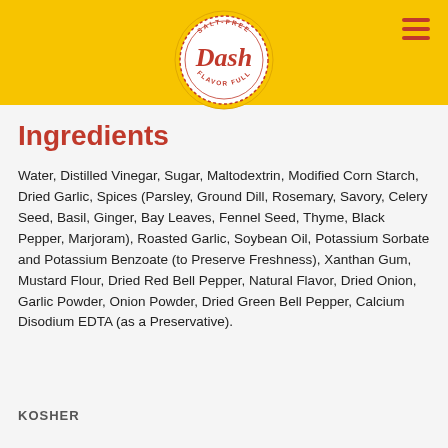[Figure (logo): Dash Salt-Free Flavor Full brand logo — circular badge with yellow and white background, red 'Dash' script lettering, dotted border ring with 'SALT-FREE' at top and 'FLAVOR FULL' at bottom]
Ingredients
Water, Distilled Vinegar, Sugar, Maltodextrin, Modified Corn Starch, Dried Garlic, Spices (Parsley, Ground Dill, Rosemary, Savory, Celery Seed, Basil, Ginger, Bay Leaves, Fennel Seed, Thyme, Black Pepper, Marjoram), Roasted Garlic, Soybean Oil, Potassium Sorbate and Potassium Benzoate (to Preserve Freshness), Xanthan Gum, Mustard Flour, Dried Red Bell Pepper, Natural Flavor, Dried Onion, Garlic Powder, Onion Powder, Dried Green Bell Pepper, Calcium Disodium EDTA (as a Preservative).
KOSHER